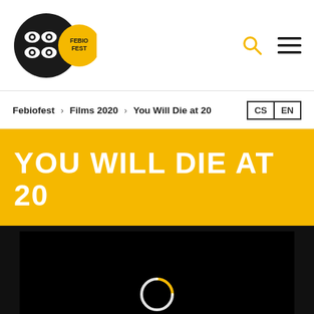[Figure (logo): Febiofest logo: black circle with four eye icons and yellow circle with FEBIO FEST text]
Febiofest > Films 2020 > You Will Die at 20  CS | EN
YOU WILL DIE AT 20
[Figure (screenshot): Black video player area with a loading spinner (circle) in the center]